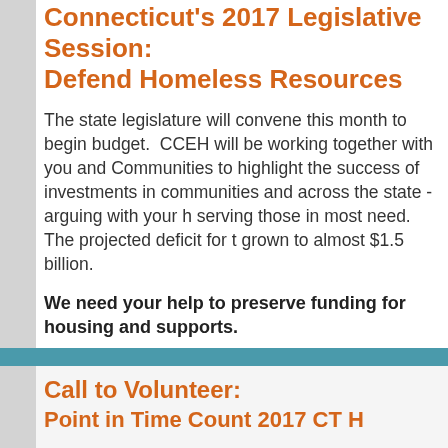Connecticut's 2017 Legislative Session: Defend Homeless Resources
The state legislature will convene this month to begin budget. CCEH will be working together with you and Communities to highlight the success of investments in communities and across the state - arguing with your help serving those in most need. The projected deficit for the grown to almost $1.5 billion.
We need your help to preserve funding for housing and supports.
Click here to read more on what you can do and important dates!
Call to Volunteer:
Point in Time Count 2017 CT H...